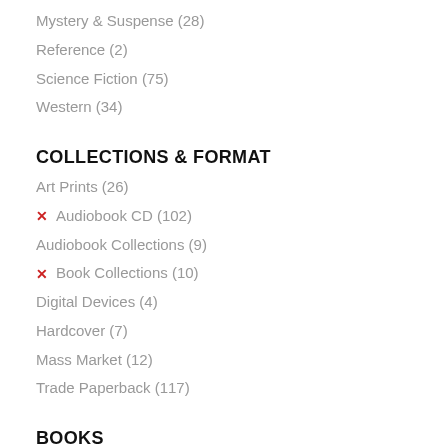Mystery & Suspense (28)
Reference (2)
Science Fiction (75)
Western (34)
COLLECTIONS & FORMAT
Art Prints (26)
✕  Audiobook CD (102)
Audiobook Collections (9)
✕  Book Collections (10)
Digital Devices (4)
Hardcover (7)
Mass Market (12)
Trade Paperback (117)
BOOKS
Mission Earth (22)